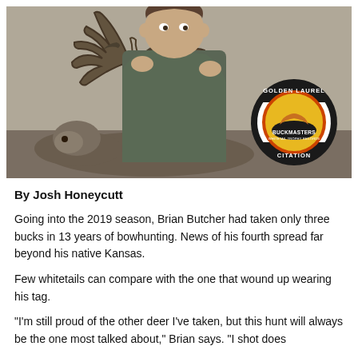[Figure (photo): A man in a green hoodie holds up the antlers of a large whitetail deer with a complex rack. A Buckmasters Golden Laurel Citation badge is overlaid in the bottom right corner of the image.]
By Josh Honeycutt
Going into the 2019 season, Brian Butcher had taken only three bucks in 13 years of bowhunting. News of his fourth spread far beyond his native Kansas.
Few whitetails can compare with the one that wound up wearing his tag.
"I'm still proud of the other deer I've taken, but this hunt will always be the one most talked about," Brian says. "I shot does